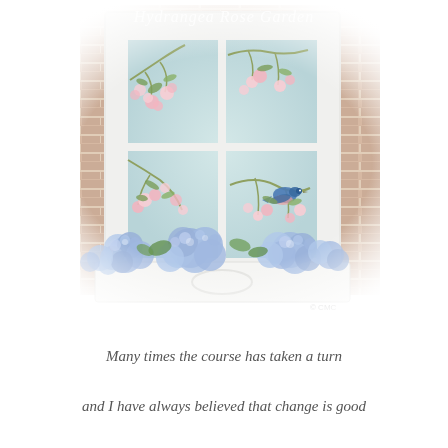[Figure (photo): A decorative painted window pane with floral and bird artwork (pink roses/blossoms and a bluebird) mounted against a brick wall, with a white window box filled with blue hydrangea flowers below. Text 'Hydrangea Rose Garden' appears at the top of the image in white script lettering. A watermark '© CMC' visible at bottom right.]
Many times the course has taken a turn
and I have always believed that change is good